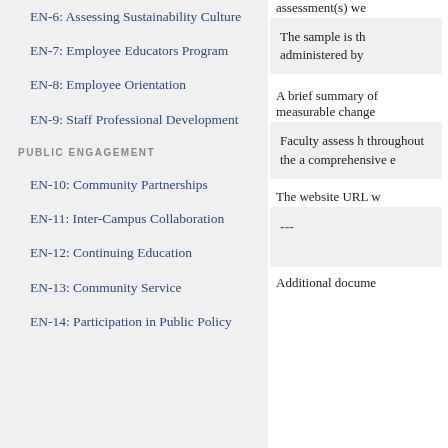EN-6: Assessing Sustainability Culture
EN-7: Employee Educators Program
EN-8: Employee Orientation
EN-9: Staff Professional Development
PUBLIC ENGAGEMENT
EN-10: Community Partnerships
EN-11: Inter-Campus Collaboration
EN-12: Continuing Education
EN-13: Community Service
EN-14: Participation in Public Policy
assessment(s) we
The sample is th administered by
A brief summary of measurable change
Faculty assess h throughout the a comprehensive e
The website URL w
---
Additional docume